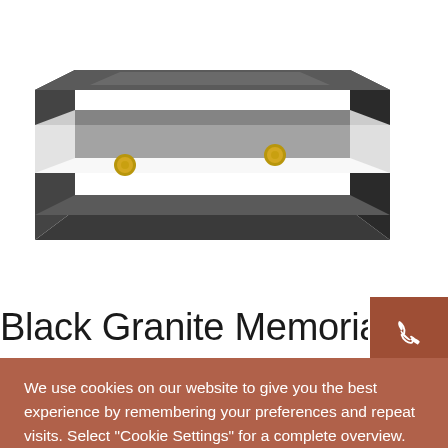[Figure (photo): Black granite memorial frame/vase holder product photo on white background, showing a dark grey rectangular frame with gold bolt hardware]
Black Granite Memorial wi
We use cookies on our website to give you the best experience by remembering your preferences and repeat visits. Select "Cookie Settings" for a complete overview.
Cookie Settings   Accept All Cookies